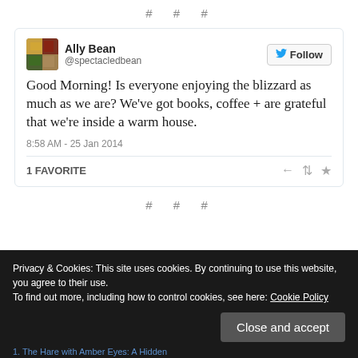# # #
[Figure (screenshot): Embedded tweet card from @spectacledbean (Ally Bean) reading: 'Good Morning! Is everyone enjoying the blizzard as much as we are? We've got books, coffee + are grateful that we're inside a warm house.' Posted 8:58 AM - 25 Jan 2014. 1 FAVORITE. Twitter Follow button visible.]
# # #
Privacy & Cookies: This site uses cookies. By continuing to use this website, you agree to their use.
To find out more, including how to control cookies, see here: Cookie Policy
Close and accept
1. The Hare with Amber Eyes: A Hidden